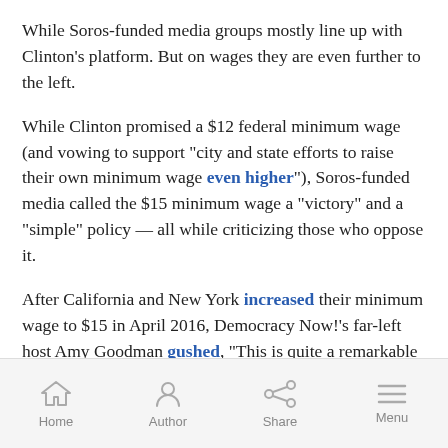While Soros-funded media groups mostly line up with Clinton’s platform. But on wages they are even further to the left.
While Clinton promised a $12 federal minimum wage (and vowing to support “city and state efforts to raise their own minimum wage even higher”), Soros-funded media called the $15 minimum wage a “victory” and a “simple” policy — all while criticizing those who oppose it.
After California and New York increased their minimum wage to $15 in April 2016, Democracy Now!’s far-left host Amy Goodman gushed, “This is quite a remarkable victory in both New York and California!”